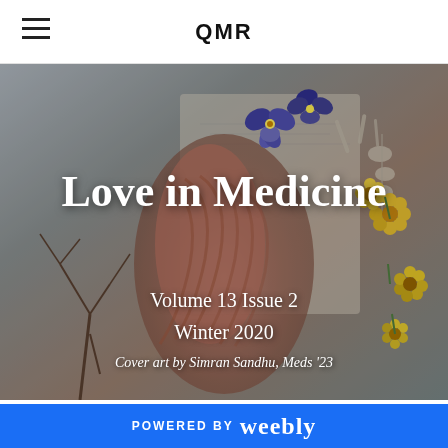QMR
[Figure (illustration): Cover of QMR medical journal Volume 13 Issue 2 Winter 2020, showing an anatomical illustration of muscles overlaid with flowers (pansies, yellow blooms), with text overlay: Love in Medicine, Volume 13 Issue 2, Winter 2020, Cover art by Simran Sandhu, Meds '23]
Love in Medicine
Volume 13 Issue 2
Winter 2020
Cover art by Simran Sandhu, Meds '23
Patient Centered Care?
2/12/2020  0 Comments
POWERED BY weebly